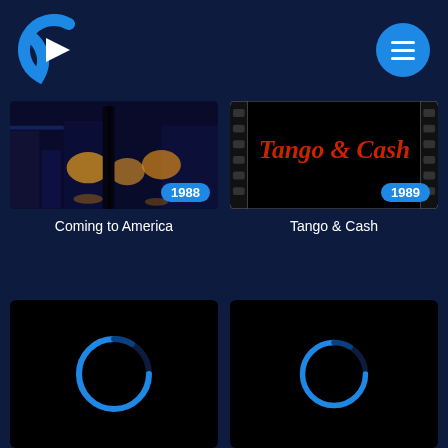[Figure (logo): Streaming app logo: blue C shape with white play triangle inside]
[Figure (logo): Blue circular menu button with three white horizontal lines (hamburger icon)]
[Figure (screenshot): Movie thumbnail for Coming to America (1988) - nighttime city street scene with golden lights]
Coming to America
[Figure (screenshot): Movie thumbnail for Tango & Cash (1989) - title card with red text on black background]
Tango & Cash
[Figure (screenshot): Loading card with blue circular spinner on black background]
[Figure (screenshot): Loading card with blue circular spinner on black background]